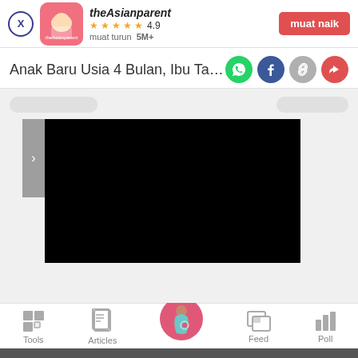[Figure (screenshot): App store banner: theAsianparent app icon (red/pink background with baby illustration), star rating 4.9, 5M+ downloads, muat naik (install) button]
Anak Baru Usia 4 Bulan, Ibu Tak Sed
[Figure (screenshot): Article content area with navigation pills, a slider button '>' and a black content box below]
[Figure (screenshot): Bottom navigation bar with Tools, Articles, Home (pregnant woman icon in pink circle), Feed, Poll]
We use cookies to ensure you get the best experience.
Learn More   Ok, Got it